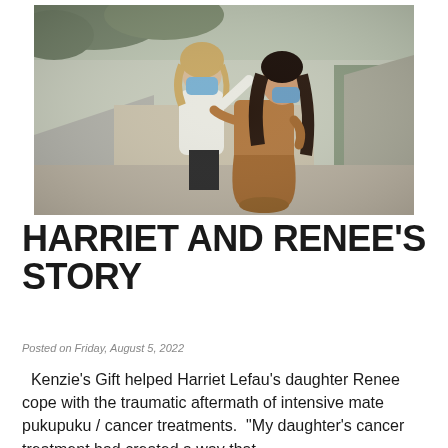[Figure (photo): A child wearing a blue face mask and white puffer jacket reaches up to touch the face of a woman in a tan/brown coat with long dark hair, standing outdoors on a gravel path with trees and a concrete ramp in the background.]
HARRIET AND RENEE'S STORY
Posted on Friday, August 5, 2022
Kenzie's Gift helped Harriet Lefau's daughter Renee cope with the traumatic aftermath of intensive mate pukupuku / cancer treatments.  "My daughter's cancer treatment had created a way that